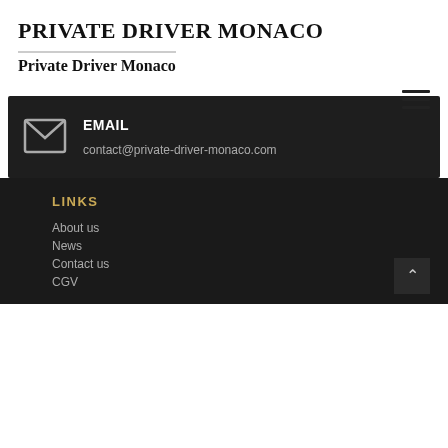PRIVATE DRIVER MONACO
Private Driver Monaco
[Figure (other): Hamburger menu icon (three horizontal lines)]
EMAIL
contact@private-driver-monaco.com
LINKS
About us
News
Contact us
CGV